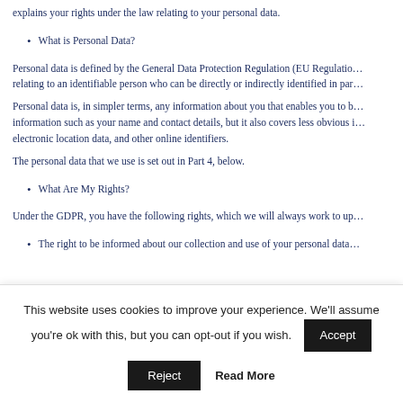explains your rights under the law relating to your personal data.
What is Personal Data?
Personal data is defined by the General Data Protection Regulation (EU Regulation) relating to an identifiable person who can be directly or indirectly identified in par…
Personal data is, in simpler terms, any information about you that enables you to be identified. Personal data covers obvious information such as your name and contact details, but it also covers less obvious information such as electronic location data, and other online identifiers.
The personal data that we use is set out in Part 4, below.
What Are My Rights?
Under the GDPR, you have the following rights, which we will always work to up…
The right to be informed about our collection and use of your personal data…
This website uses cookies to improve your experience. We'll assume you're ok with this, but you can opt-out if you wish.
Accept
Reject
Read More